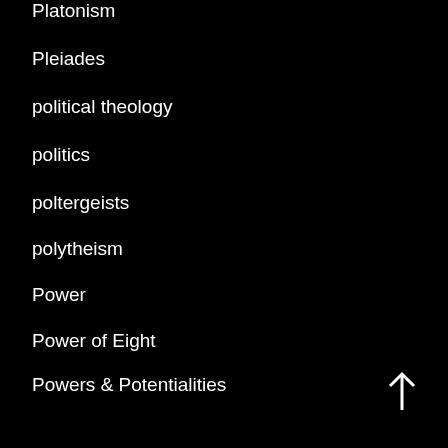Platonism
Pleiades
political theology
politics
poltergeists
polytheism
Power
Power of Eight
Powers & Potentialities
practical enchantment
praxis
prayer